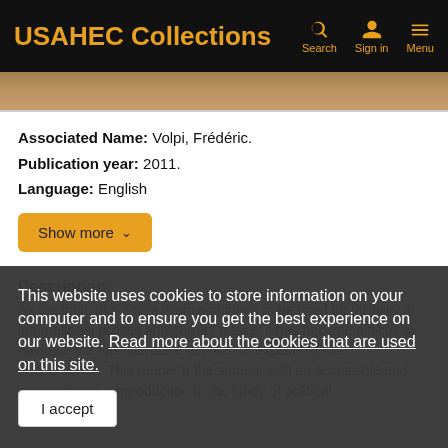USAHEC Collections  Search  Sign in  Menu
[Figure (photo): Partial view of a historical photograph strip showing an outdoor scene with brownish tones]
Associated Name: Volpi, Frédéric.
Publication year: 2011.
Language: English
Show more
Description:
As the topic of political Islam continues to be used for visibility in international politics and current affairs, it has become difficult to navigate the vast literature devoted to explaining this phenomenon. This reader p... the student with an accessible and comprehensive introduction to the study of political
This website uses cookies to store information on your computer and to ensure you get the best experience on our website. Read more about the cookies that are used on this site.
I accept